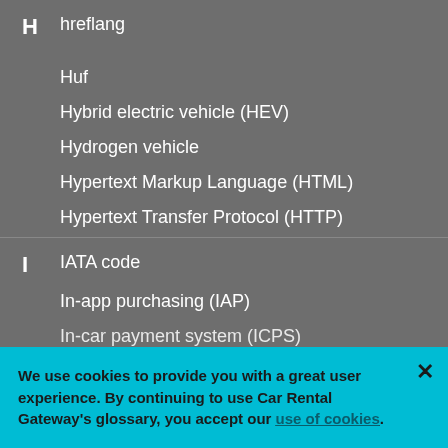H
hreflang
Huf
Hybrid electric vehicle (HEV)
Hydrogen vehicle
Hypertext Markup Language (HTML)
Hypertext Transfer Protocol (HTTP)
I
IATA code
In-app purchasing (IAP)
In-car payment system (ICPS)
Inclusive rate
We use cookies to provide you with a great user experience. By continuing to use Car Rental Gateway's glossary, you accept our use of cookies.